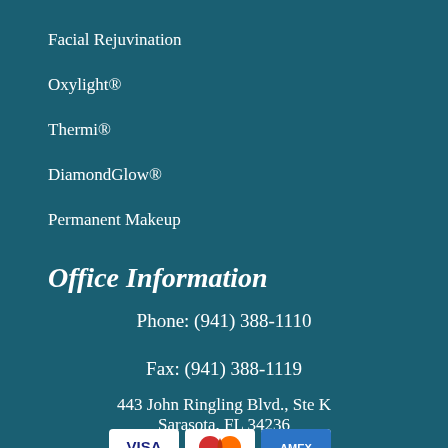Facial Rejuvination
Oxylight®
Thermi®
DiamondGlow®
Permanent Makeup
Office Information
Phone: (941) 388-1110
Fax: (941) 388-1119
443 John Ringling Blvd., Ste K
Sarasota, FL 34236
[Figure (logo): Payment method logos: VISA, MasterCard, American Express]